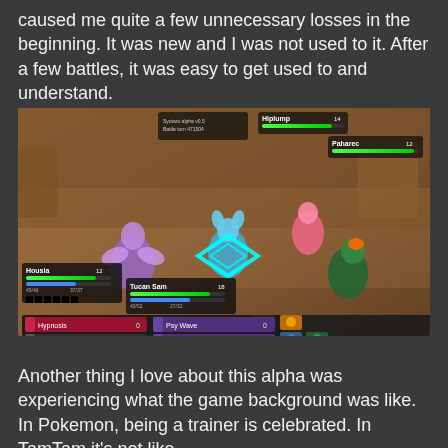caused me quite a few unnecessary losses in the beginning. It was new and I was not used to it. After a few battles, it was easy to get used to and understand.
[Figure (screenshot): Screenshot from TamTam game alpha showing a battle scene with multiple creatures/characters on a brown arena floor. UI elements visible include character HP bars for 'Housia', 'Tucan Sam', 'Hiplump', and 'Paharec'. Bottom HUD shows moves: Hypnosis, Psy Wave, Kick, Energy Manipulation, and item slots.]
Another thing I love about this alpha was experiencing what the game background was like. In Pokemon, being a trainer is celebrated. In TamTam it's not like